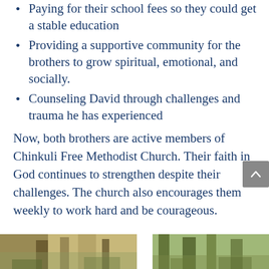Paying for their school fees so they could get a stable education
Providing a supportive community for the brothers to grow spiritual, emotional, and socially.
Counseling David through challenges and trauma he has experienced
Now, both brothers are active members of Chinkuli Free Methodist Church. Their faith in God continues to strengthen despite their challenges. The church also encourages them weekly to work hard and be courageous.
[Figure (photo): Two outdoor photos side by side showing trees and people, partially visible at the bottom of the page]